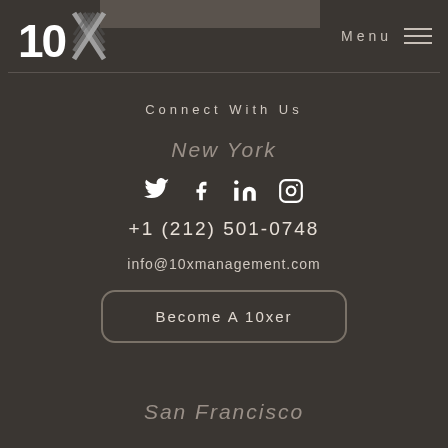[Figure (logo): 10x Management logo with stylized X made of diagonal lines]
Menu
Connect With Us
New York
[Figure (infographic): Social media icons: Twitter, Facebook, LinkedIn, Instagram]
+1 (212) 501-0748
info@10xmanagement.com
Become A 10xer
San Francisco